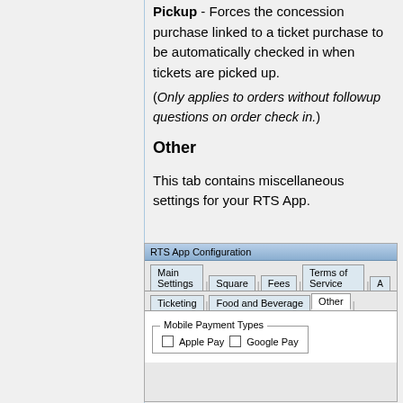Pickup - Forces the concession purchase linked to a ticket purchase to be automatically checked in when tickets are picked up.
(Only applies to orders without followup questions on order check in.)
Other
This tab contains miscellaneous settings for your RTS App.
[Figure (screenshot): RTS App Configuration dialog screenshot showing tabs: Main Settings, Square, Fees, Terms of Service, Ticketing, Food and Beverage, Other (active). Body shows Mobile Payment Types group box with Apple Pay and Google Pay checkboxes.]